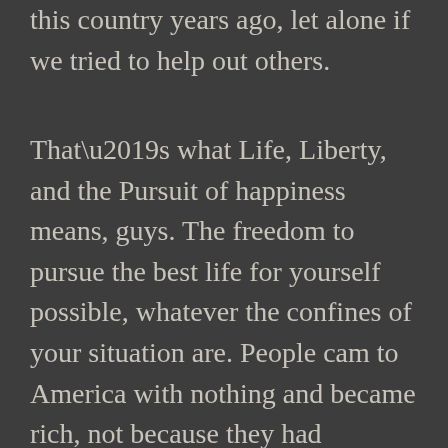this country years ago, let alone if we tried to help out others.
That’s what Life, Liberty, and the Pursuit of happiness means, guys. The freedom to pursue the best life for yourself possible, whatever the confines of your situation are. People cam to America with nothing and became rich, not because they had “privileges” but because they believed they could change their situation.